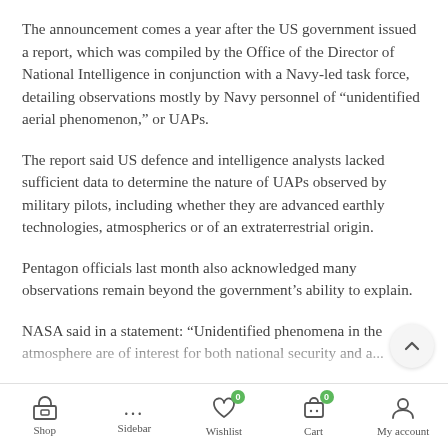The announcement comes a year after the US government issued a report, which was compiled by the Office of the Director of National Intelligence in conjunction with a Navy-led task force, detailing observations mostly by Navy personnel of “unidentified aerial phenomenon,” or UAPs.
The report said US defence and intelligence analysts lacked sufficient data to determine the nature of UAPs observed by military pilots, including whether they are advanced earthly technologies, atmospherics or of an extraterrestrial origin.
Pentagon officials last month also acknowledged many observations remain beyond the government’s ability to explain.
NASA said in a statement: “Unidentified phenomena in the atmosphere are of interest for both national security and a...
Shop | Sidebar | Wishlist (0) | Cart (0) | My account